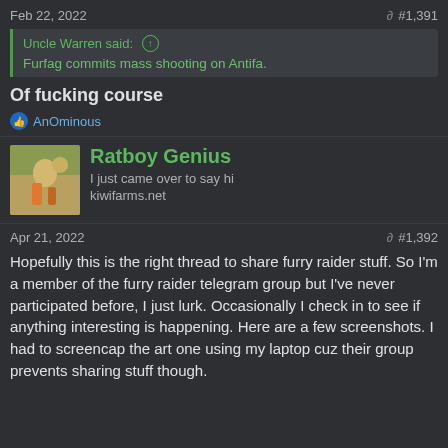Feb 22, 2022  #1,391
Uncle Warren said: ↑
Furfag commits mass shooting on Antifa.
Of fucking course
👍 AnOminous
Ratboy Genius
I just came over to say hi
kiwifarms.net
Apr 21, 2022  #1,392
Hopefully this is the right thread to share furry raider stuff. So I'm a member of the furry raider telegram group but I've never participated before, I just lurk. Occasionally I check in to see if anything interesting is happening. Here are a few screenshots. I had to screencap the art one using my laptop cuz their group prevents sharing stuff though.